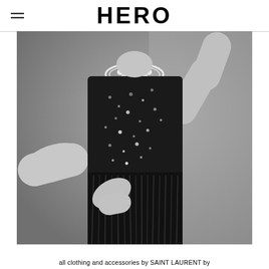HERO
[Figure (photo): Black and white fashion photograph of a model wearing a black sequined sleeveless dress and an ornate crystal choker necklace, posed with one arm raised and one hand on hip, cropped to show torso only]
all clothing and accessories by SAINT LAURENT by